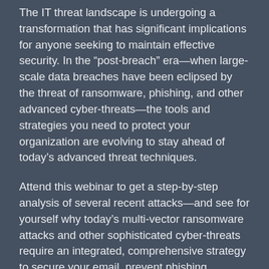The IT threat landscape is undergoing a transformation that has significant implications for anyone seeking to maintain effective security. In the “post-breach” era—when large-scale data breaches have been eclipsed by the threat of ransomware, phishing, and other advanced cyber-threats—the tools and strategies you need to protect your organization are evolving to stay ahead of today’s advanced threat techniques.
Attend this webinar to get a step-by-step analysis of several recent attacks—and see for yourself why today’s multi-vector ransomware attacks and other sophisticated cyber-threats require an integrated, comprehensive strategy to secure your email, prevent phishing, safeguard web applications, enforce advanced access controls, and protect your data.